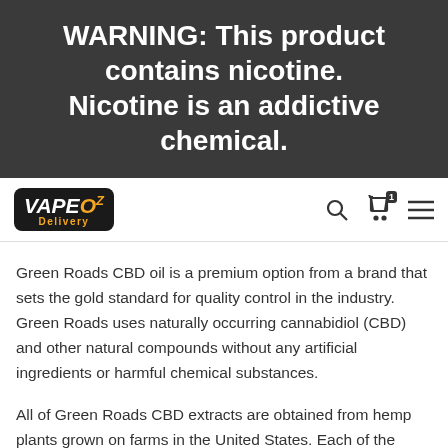WARNING: This product contains nicotine. Nicotine is an addictive chemical.
[Figure (logo): Vape Oz Delivery logo — white and orange text on black rounded rectangle background]
Green Roads CBD oil is a premium option from a brand that sets the gold standard for quality control in the industry. Green Roads uses naturally occurring cannabidiol (CBD) and other natural compounds without any artificial ingredients or harmful chemical substances.
All of Green Roads CBD extracts are obtained from hemp plants grown on farms in the United States. Each of the products has been tested by third-party laboratories for purity